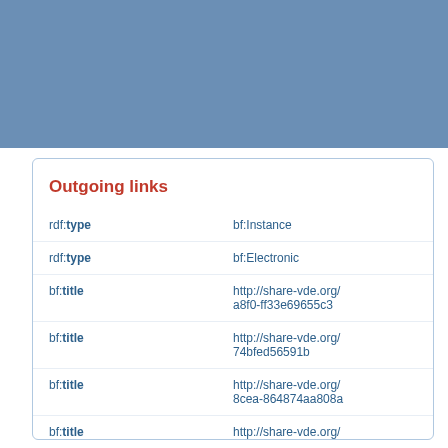[Figure (other): Blue header band background at top of page]
Outgoing links
| predicate | object |
| --- | --- |
| rdf:type | bf:Instance |
| rdf:type | bf:Electronic |
| bf:title | http://share-vde.org/...a8f0-ff33e69655c3 |
| bf:title | http://share-vde.org/...74bfed56591b |
| bf:title | http://share-vde.org/...8cea-864874aa808a |
| bf:title | http://share-vde.org/...9b08-e353fe83f7fa |
| bf:hasItem | http://share-vde.org/...a917-22bf14d76e79 |
| bf:hasItem | http://share-vde.org/... |